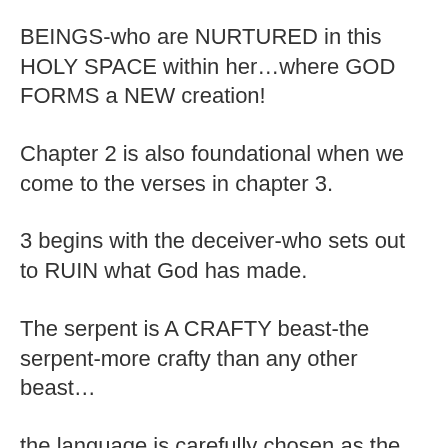BEINGS-who are NURTURED in this HOLY SPACE within her…where GOD FORMS a NEW creation!
Chapter 2 is also foundational when we come to the verses in chapter 3.
3 begins with the deceiver-who sets out to RUIN what God has made.
The serpent is A CRAFTY beast-the serpent-more crafty than any other beast…
the language is carefully chosen as the Spirit prompts Moses writing.
briefly-look back at the wording of the warning God gave to ADAM before…